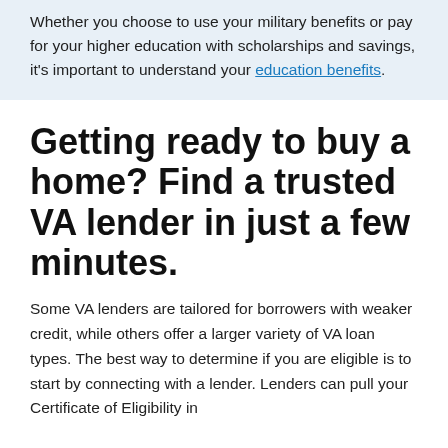Whether you choose to use your military benefits or pay for your higher education with scholarships and savings, it's important to understand your education benefits.
Getting ready to buy a home? Find a trusted VA lender in just a few minutes.
Some VA lenders are tailored for borrowers with weaker credit, while others offer a larger variety of VA loan types. The best way to determine if you are eligible is to start by connecting with a lender. Lenders can pull your Certificate of Eligibility in